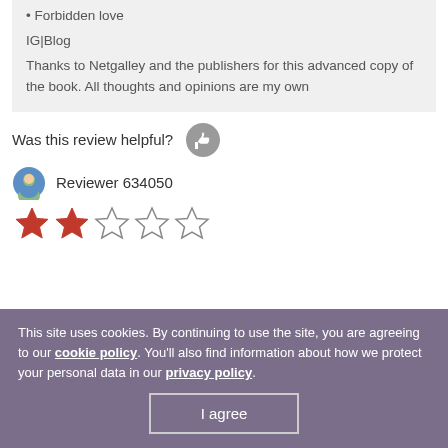• Forbidden love
IG|Blog
Thanks to Netgalley and the publishers for this advanced copy of the book. All thoughts and opinions are my own
Was this review helpful?
Reviewer 634050
[Figure (other): 2-star rating out of 5 stars]
This site uses cookies. By continuing to use the site, you are agreeing to our cookie policy. You'll also find information about how we protect your personal data in our privacy policy.
I agree